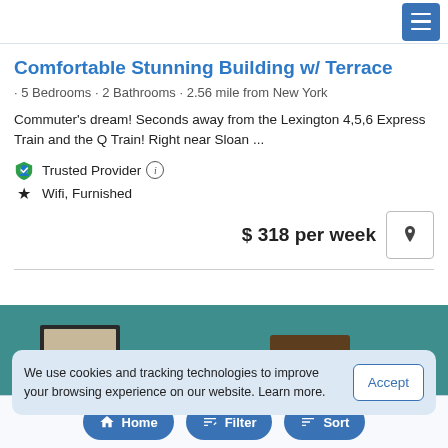Navigation menu button
Comfortable Stunning Building w/ Terrace
· 5 Bedrooms · 2 Bathrooms · 2.56 mile from New York
Commuter's dream! Seconds away from the Lexington 4,5,6 Express Train and the Q Train! Right near Sloan ...
Trusted Provider ⓘ
★ Wifi, Furnished
$ 318 per week
[Figure (photo): Room interior with teal/blue-green walls, decorative frames, a 'LIVE' wooden sign, and a cat portrait photo on the wall.]
We use cookies and tracking technologies to improve your browsing experience on our website. Learn more.
Home  Filter  Sort